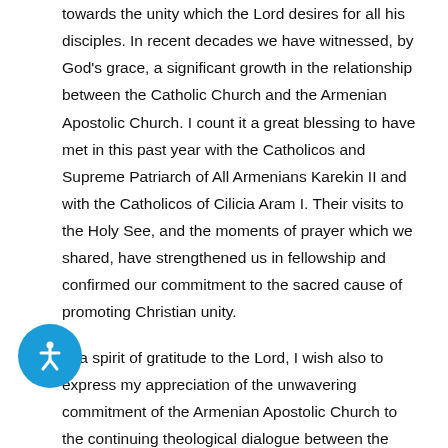towards the unity which the Lord desires for all his disciples. In recent decades we have witnessed, by God's grace, a significant growth in the relationship between the Catholic Church and the Armenian Apostolic Church. I count it a great blessing to have met in this past year with the Catholicos and Supreme Patriarch of All Armenians Karekin II and with the Catholicos of Cilicia Aram I. Their visits to the Holy See, and the moments of prayer which we shared, have strengthened us in fellowship and confirmed our commitment to the sacred cause of promoting Christian unity.

In a spirit of gratitude to the Lord, I wish also to express my appreciation of the unwavering commitment of the Armenian Apostolic Church to the continuing theological dialogue between the Catholic Church and the Eastern Orthodox Churches. This dialogue, sustained by prayer, has made progress in overcoming the burden of past misunderstandings, and offers much promise for the future. A particular sign of hope is the recent document on the nature
[Figure (other): Blue circular accessibility button with a white person/stick figure icon in the bottom-left corner of the page]